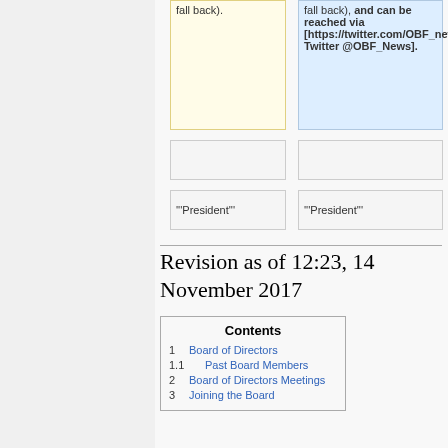fall back).
fall back), and can be reached via [https://twitter.com/OBF_news Twitter @OBF_News].
'''President'''
'''President'''
Revision as of 12:23, 14 November 2017
| Contents |
| --- |
| 1  Board of Directors |
| 1.1  Past Board Members |
| 2  Board of Directors Meetings |
| 3  Joining the Board |